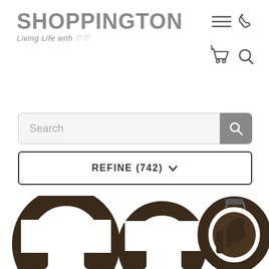[Figure (logo): Shoppington logo with text 'Living Life with hearts']
[Figure (infographic): Navigation icons: hamburger menu, phone, shopping cart, search magnifier]
Search
REFINE (742)
[Figure (photo): Two dark metal horseshoes and a decorative horse head medallion in horseshoe frame]